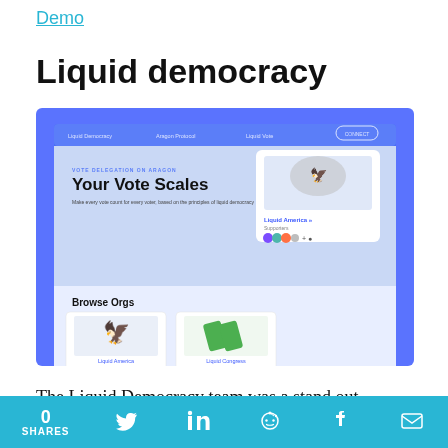Demo
Liquid democracy
[Figure (screenshot): Screenshot of the Liquid Democracy web application on Aragon, showing 'Your Vote Scales' heading with text 'Make every vote count for every voter, based on the principles of liquid democracy', a Liquid America organization card with an eagle emblem and supporter avatars, and a Browse Orgs section with two organization cards below, set on a blue/periwinkle background.]
The Liquid Democracy team was a stand out
0 SHARES [Twitter] [LinkedIn] [Reddit] [Facebook] [Email]